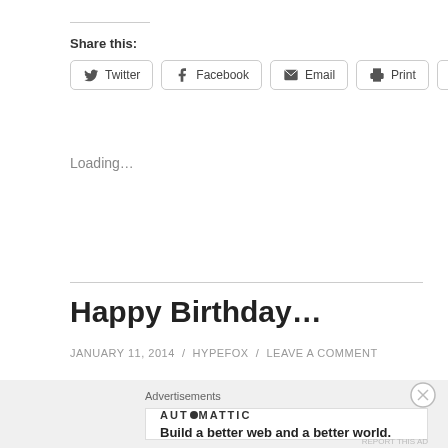Share this:
Twitter | Facebook | Email | Print | Reddit
Loading...
Happy Birthday...
JANUARY 11, 2014 / HYPEFOX / LEAVE A COMMENT
Advertisements
AUTOMATTIC — Build a better web and a better world.